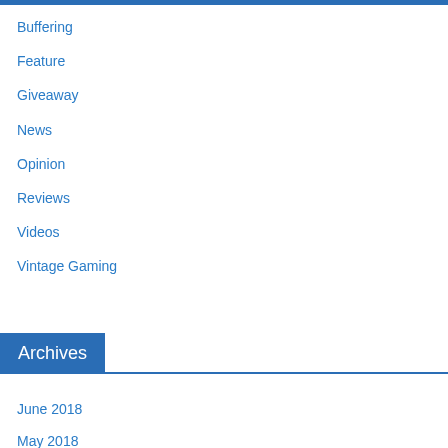Buffering
Feature
Giveaway
News
Opinion
Reviews
Videos
Vintage Gaming
Archives
June 2018
May 2018